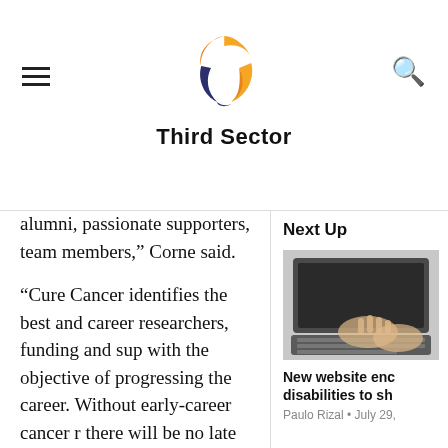Third Sector
alumni, passionate supporters, team members,” Corne said.
“Cure Cancer identifies the best and career researchers, funding and sup with the objective of progressing the career. Without early-career cancer there will be no late career cancer re Cure Cancer Research Alumni, whic years and over 500 research grants, a remarkable group of individuals, m
Next Up
[Figure (photo): Hands typing on a laptop keyboard, viewed from above]
New website enc disabilities to sh
Paulo Rizal • July 29,